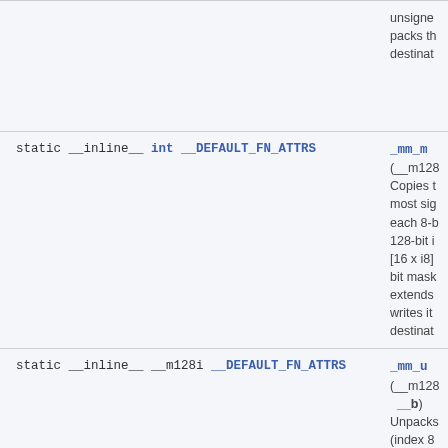unsigned packs th destinat
static __inline__ int __DEFAULT_FN_ATTRS _mm_m(__m128 Copies t most sig each 8-b 128-bit i [16 x i8] bit mask extends writes it destinat
static __inline__ __m128i __DEFAULT_FN_ATTRS _mm_u(__m128 __b) Unpacks (index 8 two 128